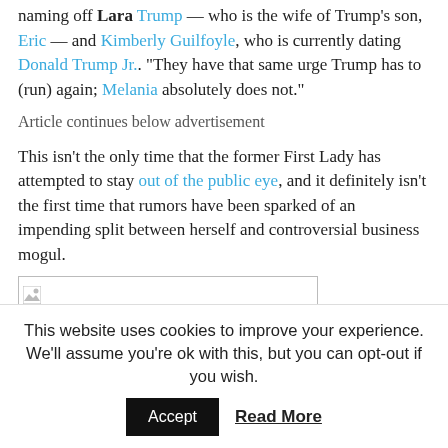naming off Lara Trump — who is the wife of Trump's son, Eric — and Kimberly Guilfoyle, who is currently dating Donald Trump Jr.. "They have that same urge Trump has to (run) again; Melania absolutely does not."
Article continues below advertisement
This isn't the only time that the former First Lady has attempted to stay out of the public eye, and it definitely isn't the first time that rumors have been sparked of an impending split between herself and controversial business mogul.
[Figure (other): Broken image placeholder icon inside a bordered rectangle]
This website uses cookies to improve your experience. We'll assume you're ok with this, but you can opt-out if you wish.
Accept | Read More